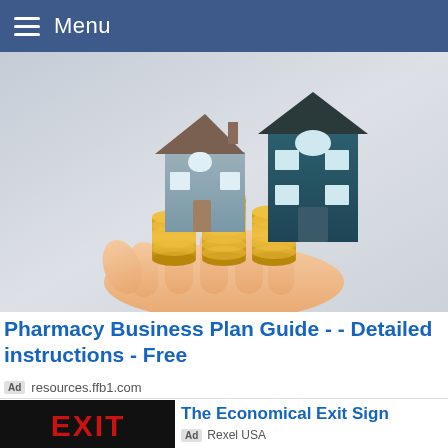Menu
[Figure (photo): A hand holding stacks of gold coins with two model houses sitting on top of the coins, against a light gray background.]
Pharmacy Business Plan Guide - - Detailed instructions - Free
Ad  resources.ffb1.com
[Figure (photo): An EXIT sign with red letters on a black background.]
The Economical Exit Sign
Ad  Rexel USA